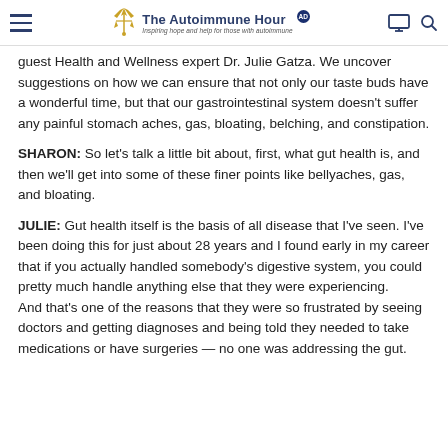The Autoimmune Hour — Inspiring hope and help for those with autoimmune
guest Health and Wellness expert Dr. Julie Gatza. We uncover suggestions on how we can ensure that not only our taste buds have a wonderful time, but that our gastrointestinal system doesn't suffer any painful stomach aches, gas, bloating, belching, and constipation.
SHARON: So let's talk a little bit about, first, what gut health is, and then we'll get into some of these finer points like bellyaches, gas, and bloating.
JULIE: Gut health itself is the basis of all disease that I've seen. I've been doing this for just about 28 years and I found early in my career that if you actually handled somebody's digestive system, you could pretty much handle anything else that they were experiencing. And that's one of the reasons that they were so frustrated by seeing doctors and getting diagnoses and being told they needed to take medications or have surgeries — no one was addressing the gut.